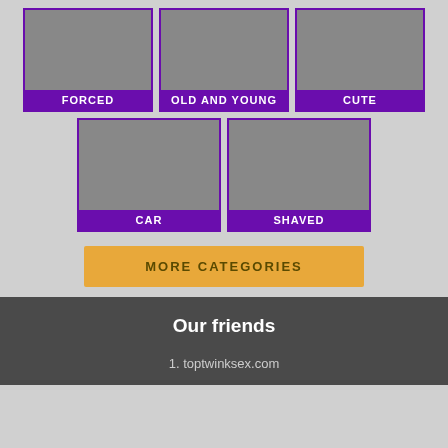[Figure (screenshot): Grid of category thumbnails: FORCED, OLD AND YOUNG, CUTE, CAR, SHAVED]
MORE CATEGORIES
Our friends
1. toptwinksex.com